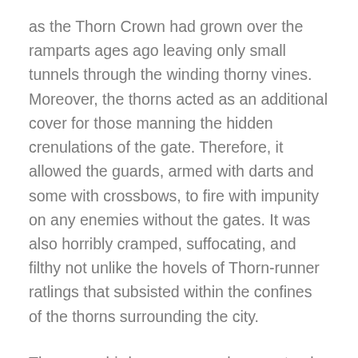as the Thorn Crown had grown over the ramparts ages ago leaving only small tunnels through the winding thorny vines. Moreover, the thorns acted as an additional cover for those manning the hidden crenulations of the gate. Therefore, it allowed the guards, armed with darts and some with crossbows, to fire with impunity on any enemies without the gates. It was also horribly cramped, suffocating, and filthy not unlike the hovels of Thorn-runner ratlings that subsisted within the confines of the thorns surrounding the city.
There was bird mess everywhere, not only the white and black-purple of their droppings streaking the woody vines but clumps of flea-infested feathers, filthy nest litter, and the cacophony of chittering from above where the small birds would alight atop the thorny canopy. The most common birds there being pigeons and shirkes the latter of which were known to impale the uneaten portions of